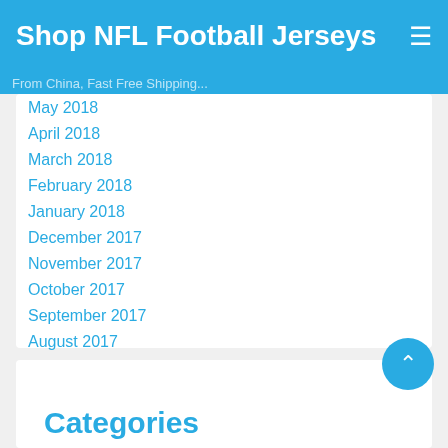Shop NFL Football Jerseys From China, Fast Free Shipping
May 2018
April 2018
March 2018
February 2018
January 2018
December 2017
November 2017
October 2017
September 2017
August 2017
July 2017
June 2017
May 2017
Categories